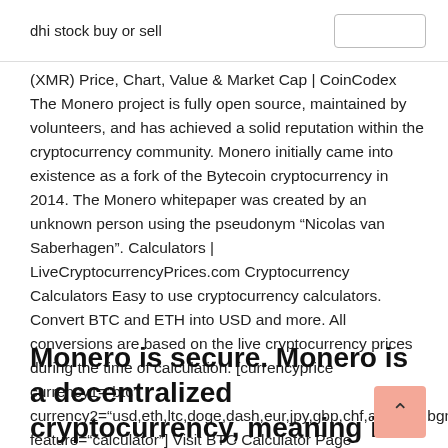dhi stock buy or sell
(XMR) Price, Chart, Value & Market Cap | CoinCodex The Monero project is fully open source, maintained by volunteers, and has achieved a solid reputation within the cryptocurrency community. Monero initially came into existence as a fork of the Bytecoin cryptocurrency in 2014. The Monero whitepaper was created by an unknown person using the pseudonym “Nicolas van Saberhagen”. Calculators | LiveCryptocurrencyPrices.com Cryptocurrency Calculators Easy to use cryptocurrency calculators. Convert BTC and ETH into USD and more. All conversions are based on the live cryptocurrency prices during the time of calculation. [currencyprice currency1=“btc” currency2=“usd,eth,ltc,doge,dash,eur,jpy,gbp,chf,aud,cad,bgn” feature=“calculator”] Visit BTC Calculator Page [currencyprice currency1=“ETH” currency2
Monero is secure. Monero is a decentralized cryptocurrency, meaning it is secure digital cash